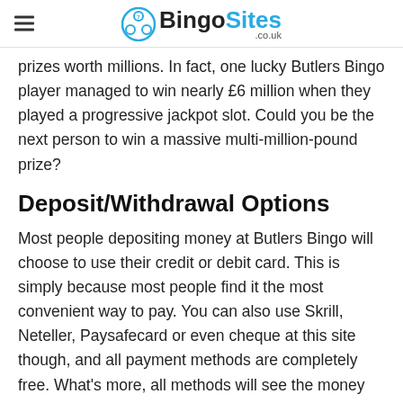BingoSites .co.uk
prizes worth millions. In fact, one lucky Butlers Bingo player managed to win nearly £6 million when they played a progressive jackpot slot. Could you be the next person to win a massive multi-million-pound prize?
Deposit/Withdrawal Options
Most people depositing money at Butlers Bingo will choose to use their credit or debit card. This is simply because most people find it the most convenient way to pay. You can also use Skrill, Neteller, Paysafecard or even cheque at this site though, and all payment methods are completely free. What's more, all methods will see the money being paid into your casino account instantly, aside from cheque, of course.
When withdrawing, you'll have to withdraw using the same method you deposited with. If this isn't possible,